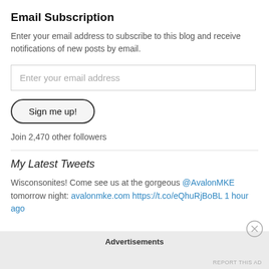Email Subscription
Enter your email address to subscribe to this blog and receive notifications of new posts by email.
Enter your email address
Sign me up!
Join 2,470 other followers
My Latest Tweets
Wisconsonites! Come see us at the gorgeous @AvalonMKE tomorrow night: avalonmke.com https://t.co/eQhuRjBoBL 1 hour ago
Advertisements